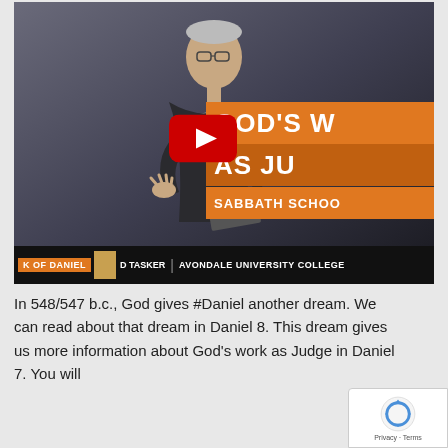[Figure (screenshot): YouTube video thumbnail showing a man in a suit speaking, with orange banners reading 'GOD'S W...' and 'AS JU...' (God's Work as Judge), 'SABBATH SCHOO...' overlay, bottom bar showing 'BOOK OF DANIEL', 'D TASKER', 'AVONDALE UNIVERSITY COLLEGE', and a YouTube play button overlay.]
In 548/547 b.c., God gives #Daniel another dream. We can read about that dream in Daniel 8. This dream gives us more information about God's work as Judge in Daniel 7. You will